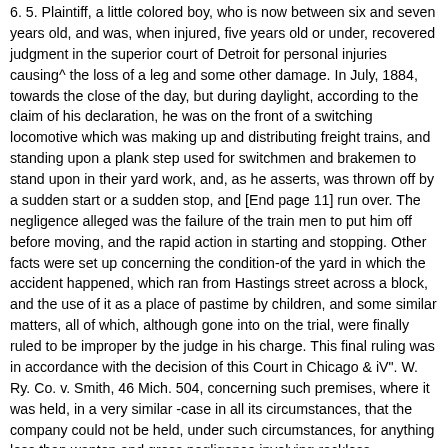6. 5. Plaintiff, a little colored boy, who is now between six and seven years old, and was, when injured, five years old or under, recovered judgment in the superior court of Detroit for personal injuries causing^ the loss of a leg and some other damage. In July, 1884, towards the close of the day, but during daylight, according to the claim of his declaration, he was on the front of a switching locomotive which was making up and distributing freight trains, and standing upon a plank step used for switchmen and brakemen to stand upon in their yard work, and, as he asserts, was thrown off by a sudden start or a sudden stop, and [End page 11] run over. The negligence alleged was the failure of the train men to put him off before moving, and the rapid action in starting and stopping. Other facts were set up concerning the condition-of the yard in which the accident happened, which ran from Hastings street across a block, and the use of it as a place of pastime by children, and some similar matters, all of which, although gone into on the trial, were finally ruled to be improper by the judge in his charge. This final ruling was in accordance with the decision of this Court in Chicago & iV". W. Ry. Co. v. Smith, 46 Mich. 504, concerning such premises, where it was held, in a very similar -case in all its circumstances, that the company could not be held, under such circumstances, for anything less than wanton and gross negligence involving reckless misconduct. Under the charge, as already given, the jury were directed not to find for plaintiff unless the engineer actually saw the plaintiff on the foot-board. If so, the court held he should not have started the train while the boy was on it, but should have ordered him off; and, in giving this charge,